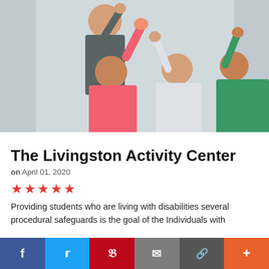[Figure (photo): Group photo of four people with disabilities and a staff member raising their hands, appearing happy and celebratory, indoors.]
The Livingston Activity Center
on April 01, 2020
★★★★★
Providing students who are living with disabilities several procedural safeguards is the goal of the Individuals with
f  Twitter  Pinterest  Email  Link  +